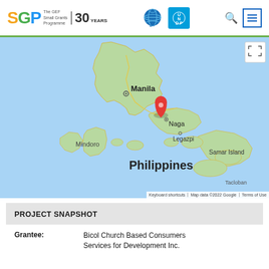SGP The GEF Small Grants Programme 30 YEARS | GEF | UNDP
[Figure (map): Google Map showing the Philippines with a red pin marker near Naga, Camarines Sur. Visible labels include Manila, Mindoro, Naga, Legazpi, Philippines, Samar Island. Map data ©2022 Google.]
PROJECT SNAPSHOT
Grantee: Bicol Church Based Consumers Services for Development Inc.